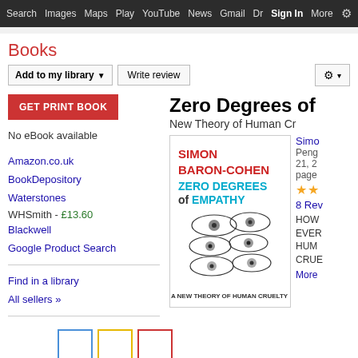Search  Images  Maps  Play  YouTube  News  Gmail  Dr  Sign In  More  ⚙
Books
Add to my library ▼   Write review   ⚙ ▾
GET PRINT BOOK
No eBook available
Amazon.co.uk
BookDepository
Waterstones
WHSmith - £13.60
Blackwell
Google Product Search
Find in a library
All sellers »
Zero Degrees of
New Theory of Human Cr
[Figure (photo): Book cover of 'Zero Degrees of Empathy' by Simon Baron-Cohen, showing eyes of multiple faces with text 'A NEW THEORY OF HUMAN CRUELTY']
Simo
Peng
21, 2
page
★★
8 Rev
HOW
EVER
HUM
CRUE
More